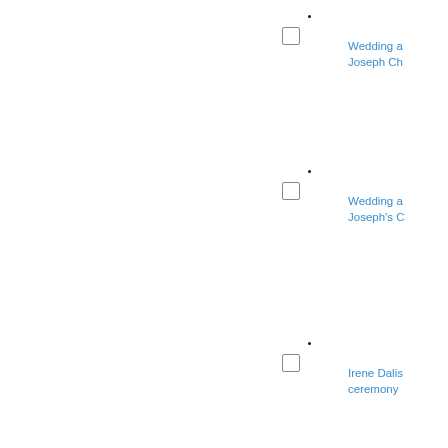Wedding a Joseph Ch
Wedding a Joseph's C
Irene Dalis ceremony